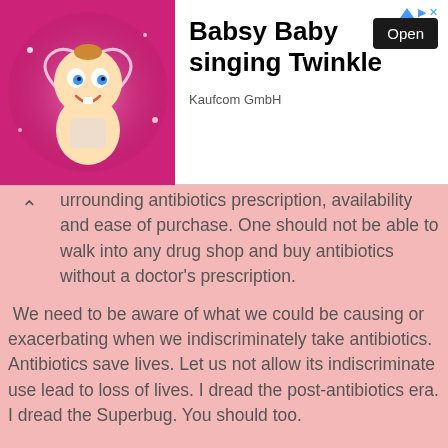[Figure (illustration): Advertisement banner showing animated baby character (Babsy Baby) on pink glowing background with heart shape, alongside text 'Babsy Baby singing Twinkle' by Kaufcom GmbH with an Open button]
urrounding antibiotics prescription, availability and ease of purchase. One should not be able to walk into any drug shop and buy antibiotics without a doctor's prescription.
We need to be aware of what we could be causing or exacerbating when we indiscriminately take antibiotics. Antibiotics save lives. Let us not allow its indiscriminate use lead to loss of lives. I dread the post-antibiotics era. I dread the Superbug. You should too.